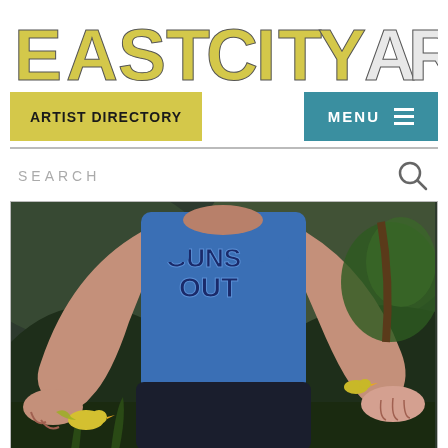EASTCITYART
ARTIST DIRECTORY
MENU
SEARCH
[Figure (illustration): Painting of a person wearing a blue sleeveless shirt with partial text 'GUNS OUT', holding hands open with birds around them including a yellow bird near the left hand and a small bird on a ledge to the right, with green foliage background.]